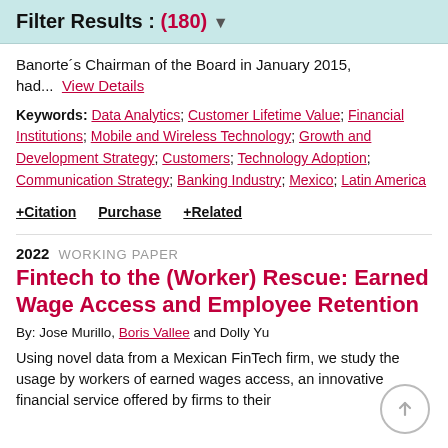Filter Results : (180) ▼
Banorte´s Chairman of the Board in January 2015, had...  View Details
Keywords: Data Analytics; Customer Lifetime Value; Financial Institutions; Mobile and Wireless Technology; Growth and Development Strategy; Customers; Technology Adoption; Communication Strategy; Banking Industry; Mexico; Latin America
+ Citation   Purchase   + Related
2022  WORKING PAPER
Fintech to the (Worker) Rescue: Earned Wage Access and Employee Retention
By: Jose Murillo, Boris Vallee and Dolly Yu
Using novel data from a Mexican FinTech firm, we study the usage by workers of earned wages access, an innovative financial service offered by firms to their